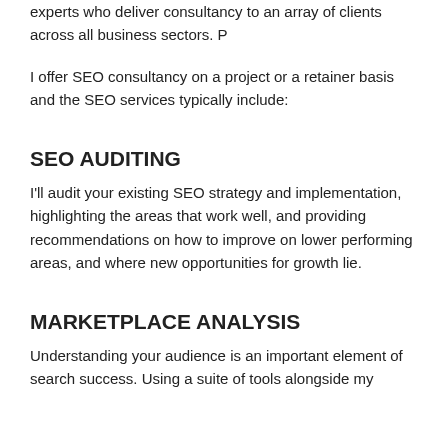experts who deliver consultancy to an array of clients across all business sectors. P
I offer SEO consultancy on a project or a retainer basis and the SEO services typically include:
SEO AUDITING
I'll audit your existing SEO strategy and implementation, highlighting the areas that work well, and providing recommendations on how to improve on lower performing areas, and where new opportunities for growth lie.
MARKETPLACE ANALYSIS
Understanding your audience is an important element of search success. Using a suite of tools alongside my